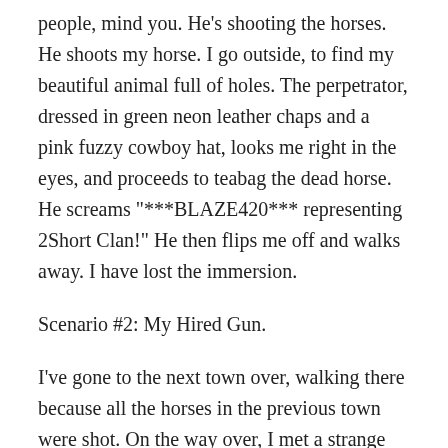people, mind you. He's shooting the horses. He shoots my horse. I go outside, to find my beautiful animal full of holes. The perpetrator, dressed in green neon leather chaps and a pink fuzzy cowboy hat, looks me right in the eyes, and proceeds to teabag the dead horse. He screams "***BLAZE420*** representing 2Short Clan!" He then flips me off and walks away. I have lost the immersion.
Scenario #2: My Hired Gun.
I've gone to the next town over, walking there because all the horses in the previous town were shot. On the way over, I met a strange man. He is out in the desert, dying of thirst. I give him a long pull from my canteen. He's grateful, saying he was left out to die here. I tell him I'm headed to the town close by, but I'm new to these